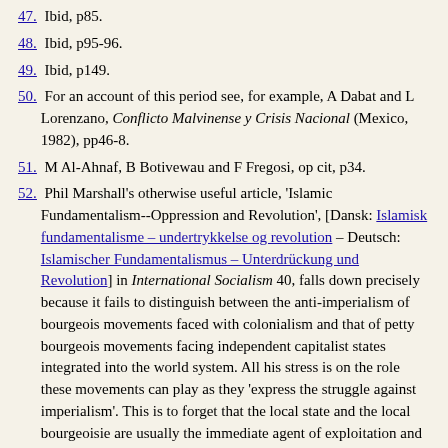47. Ibid, p85.
48. Ibid, p95-96.
49. Ibid, p149.
50. For an account of this period see, for example, A Dabat and L Lorenzano, Conflicto Malvinense y Crisis Nacional (Mexico, 1982), pp46-8.
51. M Al-Ahnaf, B Botivewau and F Fregosi, op cit, p34.
52. Phil Marshall's otherwise useful article, 'Islamic Fundamentalism--Oppression and Revolution', [Dansk: Islamisk fundamentalisme – undertrykkelse og revolution – Deutsch: Islamischer Fundamentalismus – Unterdrückung und Revolution] in International Socialism 40, falls down precisely because it fails to distinguish between the anti-imperialism of bourgeois movements faced with colonialism and that of petty bourgeois movements facing independent capitalist states integrated into the world system. All his stress is on the role these movements can play as they 'express the struggle against imperialism'. This is to forget that the local state and the local bourgeoisie are usually the immediate agent of exploitation and oppression in the Third World today-something which some strands of radical Islamism do at least half recognise (as when Qutb describes states like Egypt as 'non Islamic').
It also falls to see that the petty bourgeoisie limitations of Islamist movements mean that their leaders, like those of movements like Peronism before them, often use rhetoric about 'imperialism' to justify attempts to deal with the local state and ruling class while...